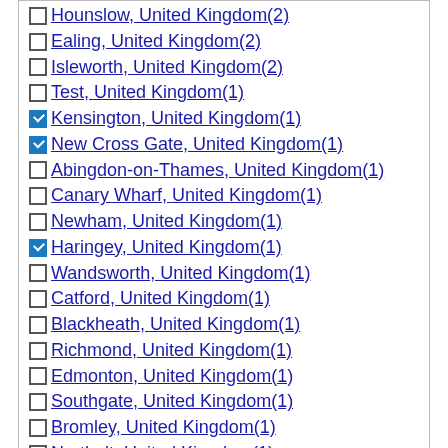Hounslow, United Kingdom(2)
Ealing, United Kingdom(2)
Isleworth, United Kingdom(2)
Test, United Kingdom(1)
Kensington, United Kingdom(1) [checked]
New Cross Gate, United Kingdom(1) [checked]
Abingdon-on-Thames, United Kingdom(1)
Canary Wharf, United Kingdom(1)
Newham, United Kingdom(1)
Haringey, United Kingdom(1) [checked]
Wandsworth, United Kingdom(1)
Catford, United Kingdom(1)
Blackheath, United Kingdom(1)
Richmond, United Kingdom(1)
Edmonton, United Kingdom(1)
Southgate, United Kingdom(1)
Bromley, United Kingdom(1)
Northolt, United Kingdom(1)
clear [x]
Facilities
24 hour security(0)
24h reception(0)